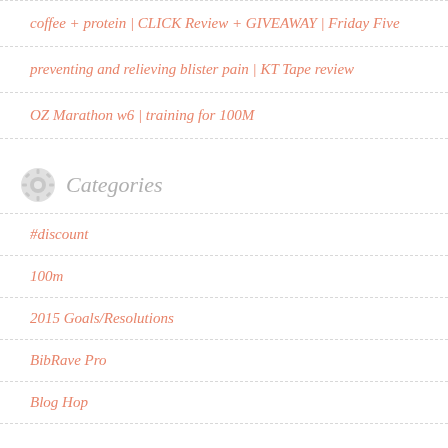coffee + protein | CLICK Review + GIVEAWAY | Friday Five
preventing and relieving blister pain | KT Tape review
OZ Marathon w6 | training for 100M
Categories
#discount
100m
2015 Goals/Resolutions
BibRave Pro
Blog Hop